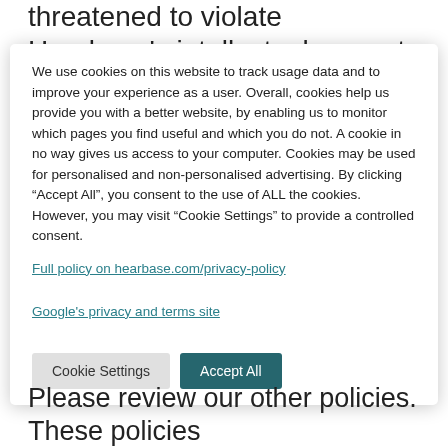threatened to violate Hearbase's intellectual property rights. Hearbase may seek injunctive or
We use cookies on this website to track usage data and to improve your experience as a user. Overall, cookies help us provide you with a better website, by enabling us to monitor which pages you find useful and which you do not. A cookie in no way gives us access to your computer. Cookies may be used for personalised and non-personalised advertising. By clicking “Accept All”, you consent to the use of ALL the cookies. However, you may visit "Cookie Settings" to provide a controlled consent.
Full policy on hearbase.com/privacy-policy
Google's privacy and terms site
Cookie Settings
Accept All
Please review our other policies. These policies